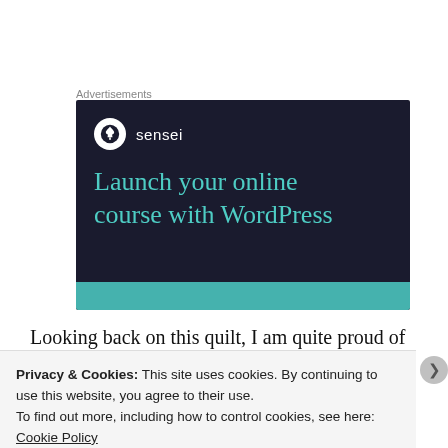Advertisements
[Figure (illustration): Sensei advertisement banner on dark navy background. Shows the Sensei logo (tree icon in white circle) with the text 'sensei', and large teal heading 'Launch your online course with WordPress'. Teal button bar at the bottom.]
Looking back on this quilt, I am quite proud of how
Privacy & Cookies: This site uses cookies. By continuing to use this website, you agree to their use.
To find out more, including how to control cookies, see here: Cookie Policy
Close and accept